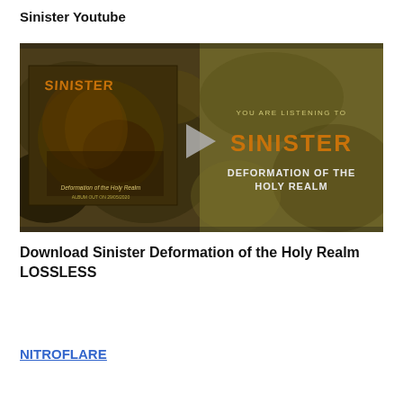Sinister Youtube
[Figure (screenshot): YouTube video thumbnail for Sinister 'Deformation of the Holy Realm' album. Left half shows the album artwork with the band name SINISTER and title 'Deformation of the Holy Realm' with text 'ALBUM OUT ON 29/05/2020'. Right half shows on dark olive background: 'YOU ARE LISTENING TO', stylized SINISTER logo in orange, and 'DEFORMATION OF THE HOLY REALM' in white. A gray play button triangle is in the center.]
Download Sinister Deformation of the Holy Realm LOSSLESS
NITROFLARE